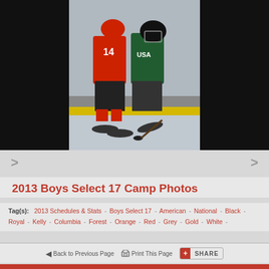[Figure (photo): Two ice hockey players colliding on the rink. One player in a red and black jersey (#14) is checking a player in a green USA jersey. Yellow boards visible in background.]
2013 Boys Select 17 Camp Photos
Tag(s): 2013 Schedules & Stats - Boys Select 17 - American - National - Black - Royal - Kelly - Columbia - Forest - Orange - Red - Grey - Gold - White -
Back to Previous Page   Print This Page   SHARE